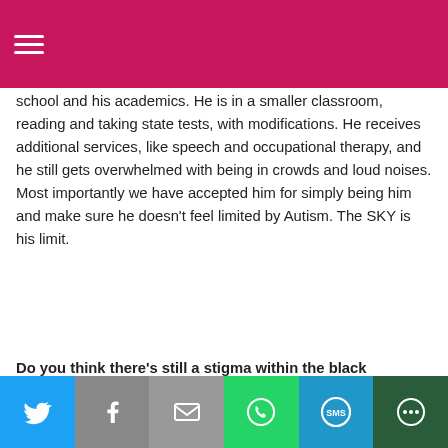≡ (hamburger menu)
school and his academics. He is in a smaller classroom, reading and taking state tests, with modifications. He receives additional services, like speech and occupational therapy, and he still gets overwhelmed with being in crowds and loud noises. Most importantly we have accepted him for simply being him and make sure he doesn't feel limited by Autism. The SKY is his limit.
Do you think there's still a stigma within the black community concerning Autism? If so how can it be changed?
The 5-step Mompreneur Checklist to Smash Your KILLER™ Goals!
[Figure (photo): Photo of a woman smiling, wearing a colorful top]
Enter your email below and grab your FREE guide on 5 tips & strategies to conquer mompreneurship , designed to help
Social share buttons: Twitter, Facebook, Email, WhatsApp, SMS, More